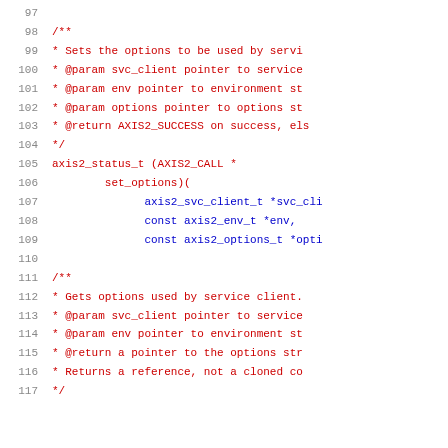Source code listing lines 97-117, C header file with Doxygen comments for axis2 service client options functions
97
98  /**
99   * Sets the options to be used by servi
100  * @param svc_client pointer to service
101  * @param env pointer to environment st
102  * @param options pointer to options st
103  * @return AXIS2_SUCCESS on success, els
104  */
105  axis2_status_t (AXIS2_CALL *
106          set_options)(
107              axis2_svc_client_t *svc_cli
108              const axis2_env_t *env,
109              const axis2_options_t *opti
110
111  /**
112  * Gets options used by service client.
113  * @param svc_client pointer to service
114  * @param env pointer to environment st
115  * @return a pointer to the options str
116  * Returns a reference, not a cloned co
117  */